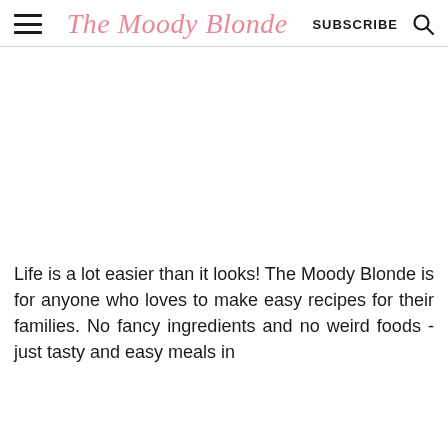The Moody Blonde  SUBSCRIBE
[Figure (other): Large blank/white image placeholder area below the header]
Life is a lot easier than it looks! The Moody Blonde is for anyone who loves to make easy recipes for their families. No fancy ingredients and no weird foods - just tasty and easy meals in